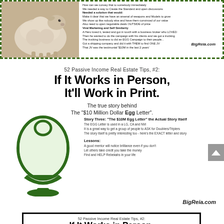[Figure (photo): Photo of a baby lamb/sheep lying on soft surface, top-left of dashed border box]
How can we convey that to somebody immediately
We needed a way to Create the Standard and open discussions
Needed a solution that would:
Make it clear that we have an arsenal of weapons and models to grow
We show up like nobody else and have them convinced of our value
Also need to open negotiable deals OUTSIDE of price
Viral Marketing and Self Similarity
A Hero loved it, tested and got in touch with a business broker who LOVED
Then he wanted to do the campaign with his clients and we got a trucking
The trucking business to did an EGG Campaign to their people...
Got a shipping company and did it with THEM to find ONE Jv
That JV was the testimonial '$10M in the last 2 years'
BigReia.com
52 Passive Income Real Estate Tips, #2:
If It Works in Person,
It'll Work in Print.
The true story behind
The "$10 Million Dollar Egg Letter".
[Figure (illustration): Green egg with green pedestal/stand, cartoon style illustration]
Story Three: "The $10M Egg Letter" the Actual Story Itself
The EGG Letter is used in a LG, CA and NM
It is a great way to get a group of people to ASK for Doublers/Triplers
The story itself is pretty interesting too - here's the EXACT letter and story
Lessons:
A good mentor will notice brilliance even if you don't
Let others take credit you take the money
Find and HELP Rebekahs in your life
BigReia.com
52 Passive Income Real Estate Tips, #2:
If It Works in Person,
It'll Work in Print.
The true story behind